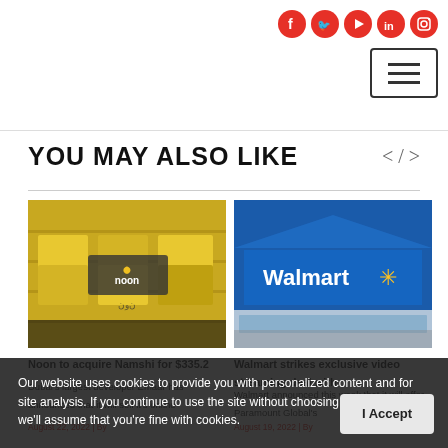Social icons and menu button
YOU MAY ALSO LIKE
[Figure (photo): Noon.com warehouse with yellow packages and branding]
Noon to acquire Namshi for $335.2
Dubai's largest developer Emaar has announced that it will sell it's online
August 22, 2022 | By
[Figure (photo): Walmart store exterior with blue sign and logo]
Walmart strikes exclusive video streaming deal with
Walmart announced this week that it will offer Paramount Global's
August 19, 2022 | By
Our website uses cookies to provide you with personalized content and for site analysis. If you continue to use the site without choosing your preference, we'll assume that you're fine with cookies.